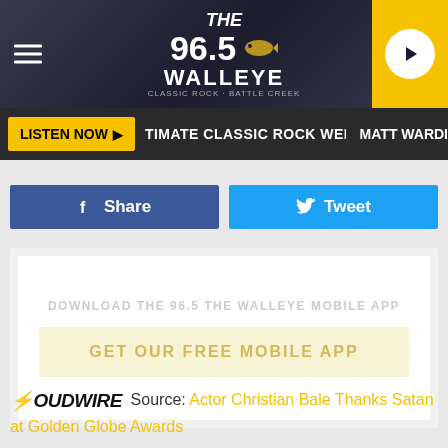96.5 THE WALLEYE — Classic Rock
LISTEN NOW | TIMATE CLASSIC ROCK WEEKENDS | MATT WARDI
Share | Tweet
[Figure (screenshot): Download the 96.5 The Walleye Mobile App promo box with GET OUR FREE MOBILE APP button]
LOUDWIRE Source: Actor Christian Bale Thanks Satan at Golden Globe Awards